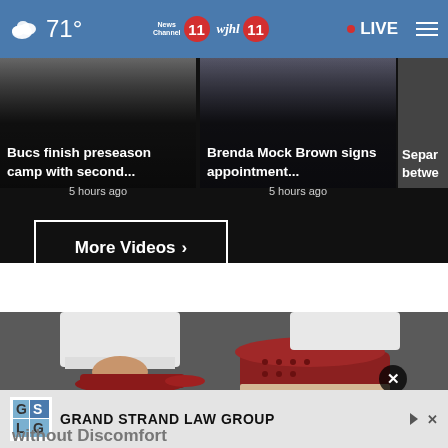71° News Channel 11 wjhl 11 • LIVE ☰
Bucs finish preseason camp with second... 5 hours ago
Brenda Mock Brown signs appointment... 5 hours ago
Separ... betwe...
More Videos ›
[Figure (photo): Close-up photo of feet wearing red perforated slip-on shoes with espadrille-style soles, paired with white cropped pants on a dark pavement background.]
Grand Strand Law Group
without Discomfort